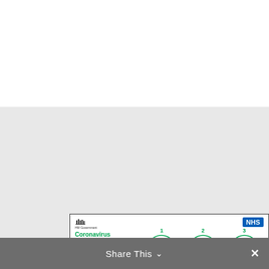[Figure (infographic): UK Government and NHS hand washing guide for Coronavirus. Shows 6 steps: 1 Palm to palm, 2 The backs of hands, 3 In between the fingers, 4 The back of the fingers, 5 The thumbs, 6 The tips of the fingers. Left text says 'Coronavirus - Wash your hands with soap and water more often for 20 seconds. Use a tissue to turn off the tap. Dry hands thoroughly.' Bottom left has a 'Protect Yourself & Others' badge.]
Share This ∨  ✕